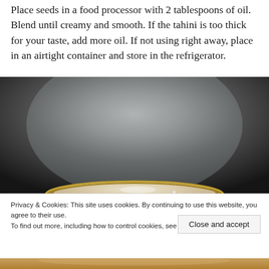Place seeds in a food processor with 2 tablespoons of oil. Blend until creamy and smooth. If the tahini is too thick for your taste, add more oil. If not using right away, place in an airtight container and store in the refrigerator.
[Figure (photo): Close-up photo of a jar or container with a gold/brass lid against a blurred dark grey/stone background]
Privacy & Cookies: This site uses cookies. By continuing to use this website, you agree to their use.
To find out more, including how to control cookies, see here: Cookie Policy
[Figure (photo): Partial view of a jar with tahini or similar paste visible at the bottom of the page]